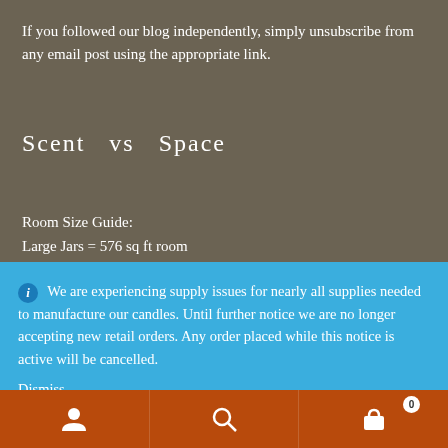If you followed our blog independently, simply unsubscribe from any email post using the appropriate link.
Scent  vs  Space
Room Size Guide:
Large Jars = 576 sq ft room
We are experiencing supply issues for nearly all supplies needed to manufacture our candles. Until further notice we are no longer accepting new retail orders. Any order placed while this notice is active will be cancelled.
Dismiss
Candles Have a Memory